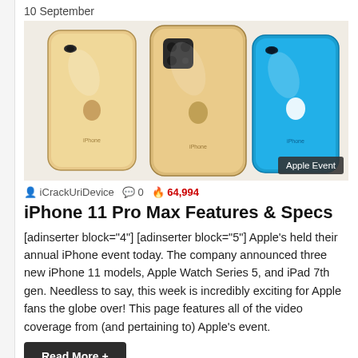10 September
[Figure (photo): Three iPhone 11 Pro models shown from the back — two gold/champagne colored and one bright blue, with 'Apple Event' badge overlay in bottom right corner]
iCrackUriDevice  0  64,994
iPhone 11 Pro Max Features & Specs
[adinserter block="4"] [adinserter block="5"] Apple's held their annual iPhone event today. The company announced three new iPhone 11 models, Apple Watch Series 5, and iPad 7th gen. Needless to say, this week is incredibly exciting for Apple fans the globe over! This page features all of the video coverage from (and pertaining to) Apple's event.
Read More +